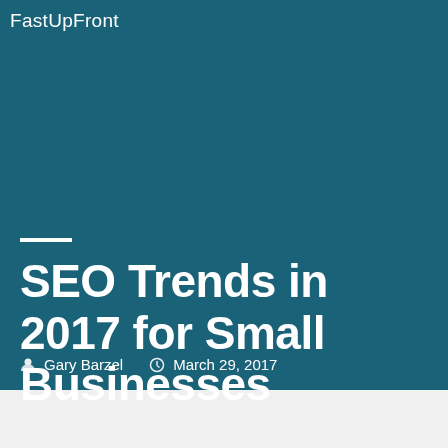FastUpFront
SEO Trends in 2017 for Small Businesses
Gary Barzel   March 29, 2017